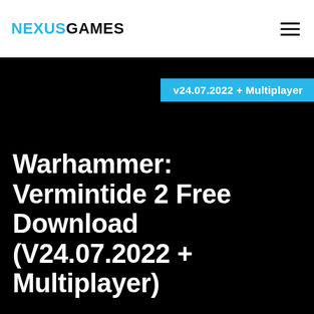NEXUSGAMES
[Figure (screenshot): Black background hero image for a game download page]
v24.07.2022 + Multiplayer
Warhammer: Vermintide 2 Free Download (V24.07.2022 + Multiplayer)